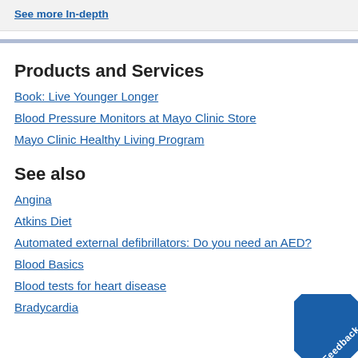See more In-depth
Products and Services
Book: Live Younger Longer
Blood Pressure Monitors at Mayo Clinic Store
Mayo Clinic Healthy Living Program
See also
Angina
Atkins Diet
Automated external defibrillators: Do you need an AED?
Blood Basics
Blood tests for heart disease
Bradycardia